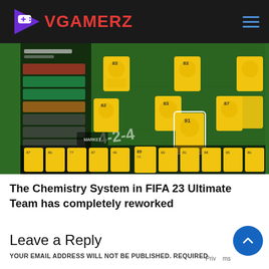VGAMERZ
[Figure (screenshot): FIFA 23 Ultimate Team squad builder screen showing player cards in a 4-2-4 formation on a green pitch, with player chemistry stats panel on the left and substitutes at the bottom]
The Chemistry System in FIFA 23 Ultimate Team has completely reworked
Leave a Reply
YOUR EMAIL ADDRESS WILL NOT BE PUBLISHED. REQUIRED